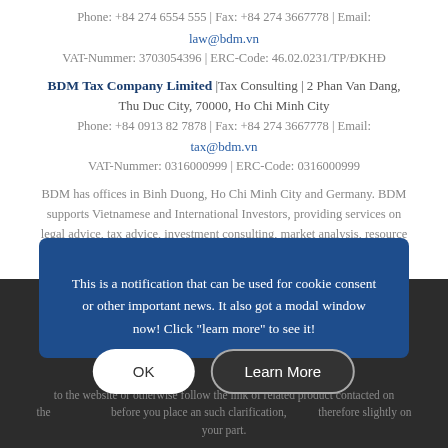Phone: +84 274 6554 555 | Fax: +84 274 3667778 | Email:
law@bdm.vn
VAT-Nummer: 3703054396 | ERC-Code: 46.02.0231/TP/ĐKHĐ
BDM Tax Company Limited |Tax Consulting | 2 Phan Van Dang, Thu Duc City, 70000, Ho Chi Minh City
Phone: +84 0913 82 7878 | Fax: +84 274 3667778 | Email:
tax@bdm.vn
VAT-Nummer: 0316000999 | ERC-Code: 0316000999
BDM has offices in Binh Duong, Ho Chi Minh City and Germany. BDM supports Vietnamese and International Investors, providing services on legal advice, tax advice, investment consulting, market analysis, resource supply, real estate legal, licensing and post-licensing services.
DISCLAIMER
The information contained in this website is for general information
This is a notification that can be used for cookie consent or other important news. It also got a modal window now! Click "learn more" to see it!
to the website or otherwise follow the link of related product contacted on the website. Since after that, before you place an such clarification, therefore slightly on your part.